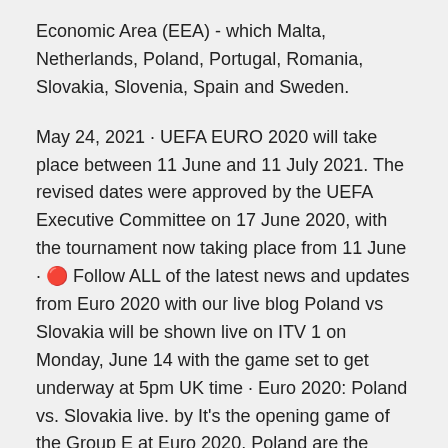Economic Area (EEA) - which Malta, Netherlands, Poland, Portugal, Romania, Slovakia, Slovenia, Spain and Sweden.
May 24, 2021 · UEFA EURO 2020 will take place between 11 June and 11 July 2021. The revised dates were approved by the UEFA Executive Committee on 17 June 2020, with the tournament now taking place from 11 June · 🔴 Follow ALL of the latest news and updates from Euro 2020 with our live blog Poland vs Slovakia will be shown live on ITV 1 on Monday, June 14 with the game set to get underway at 5pm UK time · Euro 2020: Poland vs. Slovakia live. by It's the opening game of the Group E at Euro 2020. Poland are the team with the most Serie A players after Italy.